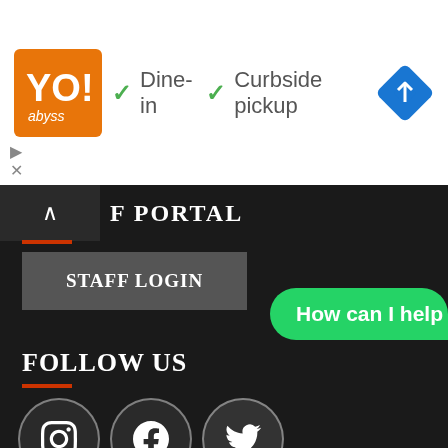[Figure (screenshot): Ad banner showing restaurant logo, Dine-in and Curbside pickup checkmarks, and navigation icon]
F PORTAL
STAFF LOGIN
FOLLOW US
[Figure (screenshot): Three social media icons: Instagram, Facebook, Twitter in dark circles]
[Figure (screenshot): WhatsApp chat bubble: How can I help you?]
CONTACT US
[Figure (logo): WhatsApp contact icon]